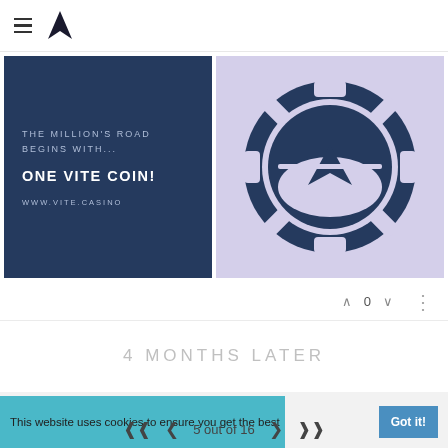≡ [Vite logo]
[Figure (illustration): Dark navy blue square with text: THE MILLION'S ROAD BEGINS WITH... ONE VITE COIN! WWW.VITE.CASINO]
[Figure (logo): Light purple/lavender square with a dark navy casino chip featuring the Vite triangular arrow logo in the center]
^ 0 v
4 MONTHS LATER
This website uses cookies to ensure you get the best
Got it!
5 out of 16